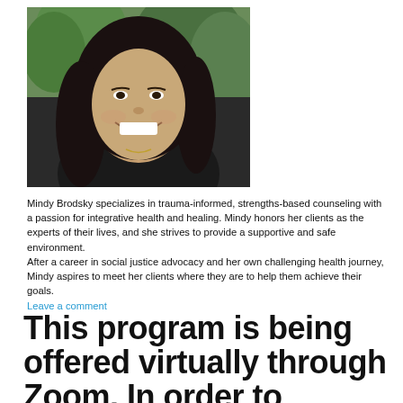[Figure (photo): Portrait photo of Mindy Brodsky, a woman with long dark hair, smiling broadly, wearing a dark top, with green foliage in the background.]
Mindy Brodsky specializes in trauma-informed, strengths-based counseling with a passion for integrative health and healing. Mindy honors her clients as the experts of their lives, and she strives to provide a supportive and safe environment.
After a career in social justice advocacy and her own challenging health journey, Mindy aspires to meet her clients where they are to help them achieve their goals.
Leave a comment
This program is being offered virtually through Zoom. In order to participate and receive the Zoom link, register by clicking the RSVP button